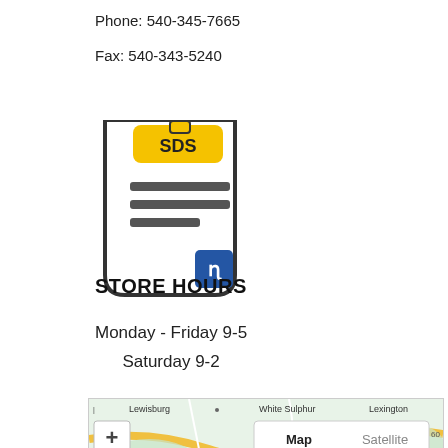Phone: 540-345-7665
Fax: 540-343-5240
[Figure (illustration): SDS document icon with yellow label tag reading 'SDS', document lines, and a blue Probo logo square in bottom right corner]
STORE HOURS
Monday - Friday 9-5
Saturday 9-2
[Figure (map): Google Maps screenshot showing a road map with Lewisburg, White Sulphur, and Lexington labeled, with Map/Satellite toggle buttons and zoom +/- controls visible]